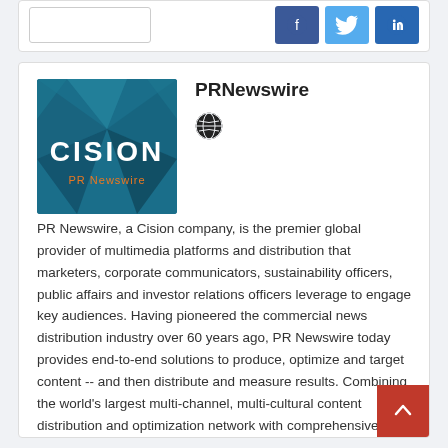[Figure (screenshot): Top card with empty box on left and three social media icons (Facebook blue, Twitter light blue, LinkedIn dark blue) on right]
[Figure (logo): Cision PR Newswire logo - teal/dark background with geometric triangles, white CISION text and orange PR Newswire text below]
PRNewswire
[Figure (other): Globe/world icon in black and white]
PR Newswire, a Cision company, is the premier global provider of multimedia platforms and distribution that marketers, corporate communicators, sustainability officers, public affairs and investor relations officers leverage to engage key audiences. Having pioneered the commercial news distribution industry over 60 years ago, PR Newswire today provides end-to-end solutions to produce, optimize and target content -- and then distribute and measure results. Combining the world's largest multi-channel, multi-cultural content distribution and optimization network with comprehensive